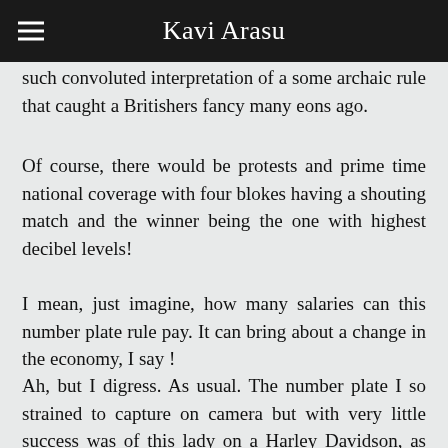Kavi Arasu
such convoluted interpretation of a some archaic rule that caught a Britishers fancy many eons ago.
Of course, there would be protests and prime time national coverage with four blokes having a shouting match and the winner being the one with highest decibel levels!
I mean, just imagine, how many salaries can this number plate rule pay. It can bring about a change in the economy, I say !
Ah, but I digress. As usual. The number plate I so strained to capture on camera but with very little success was of this lady on a Harley Davidson, as she whooshed pass us. Her plate just said : 'O Not Hiz'